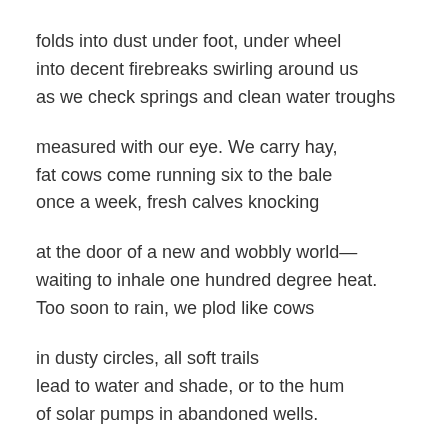folds into dust under foot, under wheel
into decent firebreaks swirling around us
as we check springs and clean water troughs
measured with our eye. We carry hay,
fat cows come running six to the bale
once a week, fresh calves knocking
at the door of a new and wobbly world—
waiting to inhale one hundred degree heat.
Too soon to rain, we plod like cows
in dusty circles, all soft trails
lead to water and shade, or to the hum
of solar pumps in abandoned wells.